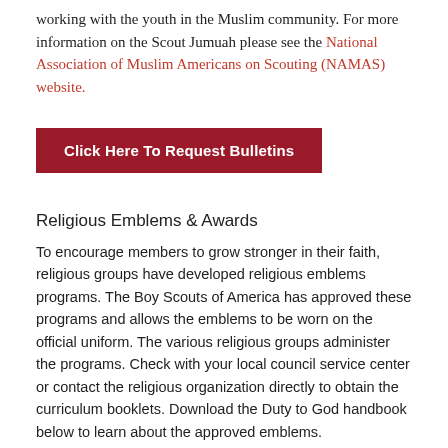working with the youth in the Muslim community. For more information on the Scout Jumuah please see the National Association of Muslim Americans on Scouting (NAMAS) website.
Click Here To Request Bulletins
Religious Emblems & Awards
To encourage members to grow stronger in their faith, religious groups have developed religious emblems programs. The Boy Scouts of America has approved these programs and allows the emblems to be worn on the official uniform. The various religious groups administer the programs. Check with your local council service center or contact the religious organization directly to obtain the curriculum booklets. Download the Duty to God handbook below to learn about the approved emblems.
Chaplain/Chaplain's Aide
To serve as a chaplain or chaplain aide is a unique opportunity for ministry. While serving in these offices, you will have the